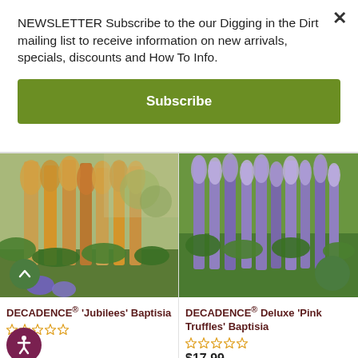NEWSLETTER Subscribe to the our Digging in the Dirt mailing list to receive information on new arrivals, specials, discounts and How To Info.
Subscribe
[Figure (photo): Photo of DECADENCE Jubilees Baptisia plant with yellow-orange flower spikes in a garden setting]
DECADENCE® 'Jubilees' Baptisia
[Figure (photo): Photo of DECADENCE Deluxe Pink Truffles Baptisia plant with purple-pink flower spikes against green background]
DECADENCE® Deluxe 'Pink Truffles' Baptisia
$17.99